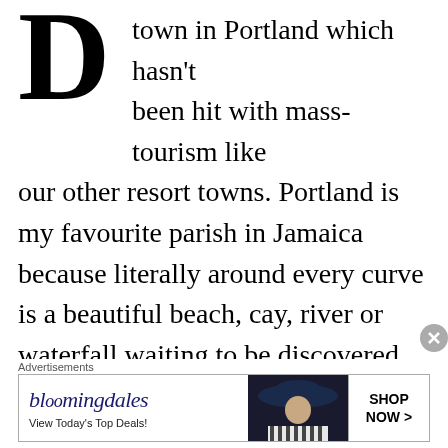Down town in Portland which hasn't been hit with mass-tourism like our other resort towns. Portland is my favourite parish in Jamaica because literally around every curve is a beautiful beach, cay, river or waterfall waiting to be discovered. Does Blue Lagoon look or sound familiar? Well, there may be a reason for that. Brook Shields' movie by the same name Blue Lagoon (1980) was filmed in Jamaica, and it's also a popular spot used in filming numerous Jamaican music videos. This coastal lagoon shrouded by thick lush greenery
Advertisements